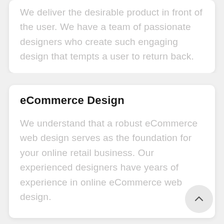We deliver the desirable product in front of the user. We have a team of passionate designers who create such engaging design that tempts a user to return back.
eCommerce Design
We understand that a robust eCommerce web design serves as the foundation for your online retail business. Our experienced designers have years of experience in online eCommerce web design.